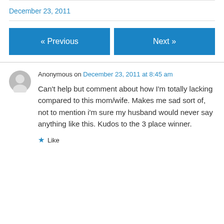December 23, 2011
« Previous
Next »
Anonymous on December 23, 2011 at 8:45 am
Can't help but comment about how I'm totally lacking compared to this mom/wife. Makes me sad sort of, not to mention i'm sure my husband would never say anything like this. Kudos to the 3 place winner.
Like